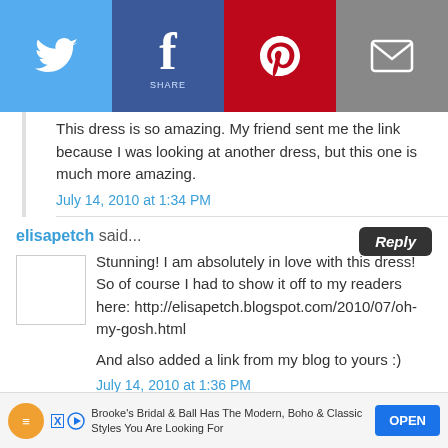[Figure (other): Social share bar with Twitter, Facebook, Pinterest, and email icons]
This dress is so amazing. My friend sent me the link because I was looking at another dress, but this one is much more amazing.
July 14, 2010 at 1:34 PM
elisapetch said...
Stunning! I am absolutely in love with this dress! So of course I had to show it off to my readers here: http://elisapetch.blogspot.com/2010/07/oh-my-gosh.html

And also added a link from my blog to yours :)
July 14, 2010 at 1:36 PM
[Figure (screenshot): Advertisement banner: Brooke's Bridal & Ball Has The Modern, Boho & Classic Styles You Are Looking For with OPEN button]